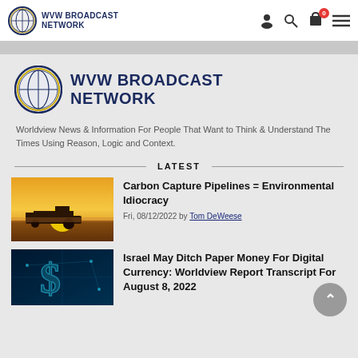WVW BROADCAST NETWORK
[Figure (logo): WVW Broadcast Network large logo with globe icon]
Worldview News & Information For People That Want to Think & Understand The Times Using Reason, Logic and Context.
LATEST
[Figure (photo): Farm machinery at sunset silhouette]
Carbon Capture Pipelines = Environmental Idiocracy
Fri, 08/12/2022 by Tom DeWeese
[Figure (photo): Digital currency graphic with dollar sign on dark background]
Israel May Ditch Paper Money For Digital Currency: Worldview Report Transcript For August 8, 2022